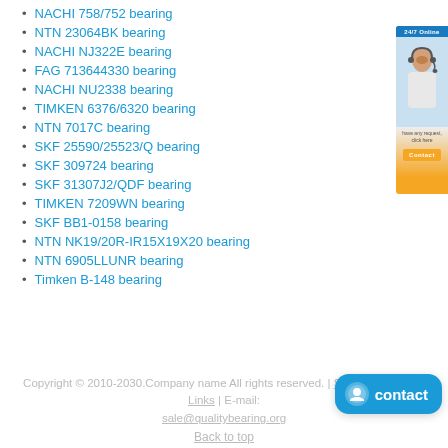NACHI 758/752 bearing
NTN 23064BK bearing
NACHI NJ322E bearing
FAG 713644330 bearing
NACHI NU2338 bearing
TIMKEN 6376/6320 bearing
NTN 7017C bearing
SKF 25590/25523/Q bearing
SKF 309724 bearing
SKF 31307J2/QDF bearing
TIMKEN 7209WN bearing
SKF BB1-0158 bearing
NTN NK19/20R-IR15X19X20 bearing
NTN 6905LLUNR bearing
Timken B-148 bearing
[Figure (photo): Customer service representative sidebar image with contact button]
Copyright © 2010-2030.Company name All rights reserved. | Sitemap | Bearing Links | E-mail: sale@qualitybearing.org
Back to top